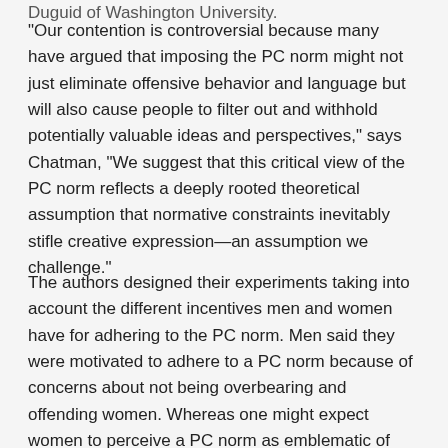Duguid of Washington University.
“Our contention is controversial because many have argued that imposing the PC norm might not just eliminate offensive behavior and language but will also cause people to filter out and withhold potentially valuable ideas and perspectives,” says Chatman, “We suggest that this critical view of the PC norm reflects a deeply rooted theoretical assumption that normative constraints inevitably stifle creative expression—an assumption we challenge.”
The authors designed their experiments taking into account the different incentives men and women have for adhering to the PC norm. Men said they were motivated to adhere to a PC norm because of concerns about not being overbearing and offending women. Whereas one might expect women to perceive a PC norm as emblematic of weakness or conformity, women in the experiment became more confident about expressing their ideas out